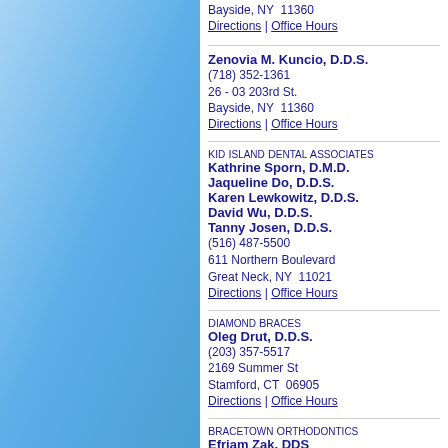Bayside, NY  11360
Directions | Office Hours
Zenovia M. Kuncio, D.D.S.
(718) 352-1361
26 - 03 203rd St.
Bayside, NY  11360
Directions | Office Hours
Kid Island Dental Associates
Kathrine Sporn, D.M.D.
Jaqueline Do, D.D.S.
Karen Lewkowitz, D.D.S.
David Wu, D.D.S.
Tanny Josen, D.D.S.
(516) 487-5500
611 Northern Boulevard
Great Neck, NY  11021
Directions | Office Hours
Diamond Braces
Oleg Drut, D.D.S.
(203) 357-5517
2169 Summer St
Stamford, CT  06905
Directions | Office Hours
Bracetown Orthodontics
Efriam Zak, DDS
(718) 406-6229
21-10 Newtown Ave